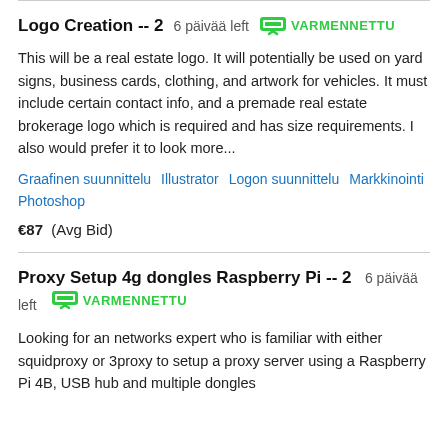Logo Creation -- 2  6 päivää left  VARMENNETTU

This will be a real estate logo. It will potentially be used on yard signs, business cards, clothing, and artwork for vehicles. It must include certain contact info, and a premade real estate brokerage logo which is required and has size requirements. I also would prefer it to look more...

Graafinen suunnittelu  Illustrator  Logon suunnittelu  Markkinointi  Photoshop

€87  (Avg Bid)
Proxy Setup 4g dongles Raspberry Pi -- 2  6 päivää left  VARMENNETTU

Looking for an networks expert who is familiar with either squidproxy or 3proxy to setup a proxy server using a Raspberry Pi 4B, USB hub and multiple dongles